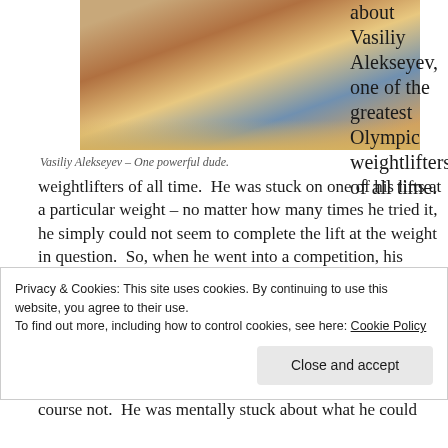[Figure (photo): Vasiliy Alekseyev performing a weightlift at a competition, crowd visible in background]
Vasiliy Alekseyev – One powerful dude.
about Vasiliy Alekseyev, one of the greatest Olympic weightlifters of all time.  He was stuck on one of his lifts at a particular weight – no matter how many times he tried it, he simply could not seem to complete the lift at the weight in question.  So, when he went into a competition, his coach had him lift just below at what that weight was – except that's only what he told Vasiliy.  In course not.  He was mentally stuck about what he could
Privacy & Cookies: This site uses cookies. By continuing to use this website, you agree to their use.
To find out more, including how to control cookies, see here: Cookie Policy
Close and accept